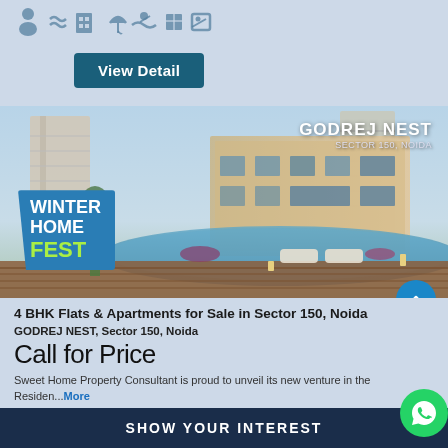[Figure (illustration): Row of small amenity icons (person, waves, building, umbrella, swimming, parcels, photos) in blue tones on light blue background]
View Detail
[Figure (photo): Godrej Nest luxury apartment complex in Sector 150, Noida. Shows high-rise towers, rooftop pool, garden landscaping, and lounge area. Winter Home Fest promotional badge on lower left. GODREJ NEST SECTOR 150, NOIDA text overlay on upper right.]
4 BHK Flats & Apartments for Sale in Sector 150, Noida
GODREJ NEST, Sector 150, Noida
Call for Price
Sweet Home Property Consultant is proud to unveil its new venture in the Residen...More
SHOW YOUR INTEREST